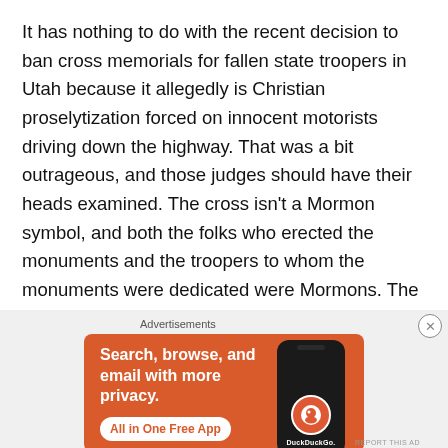It has nothing to do with the recent decision to ban cross memorials for fallen state troopers in Utah because it allegedly is Christian proselytization forced on innocent motorists driving down the highway. That was a bit outrageous, and those judges should have their heads examined. The cross isn't a Mormon symbol, and both the folks who erected the monuments and the troopers to whom the monuments were dedicated were Mormons. The cross has come to mean "grave marker" just as much as it symbolizes Christianity. For more information on that, see the related links below.
Advertisements
[Figure (illustration): DuckDuckGo advertisement banner with orange background showing 'Search, browse, and email with more privacy. All in One Free App' text and a phone displaying the DuckDuckGo logo]